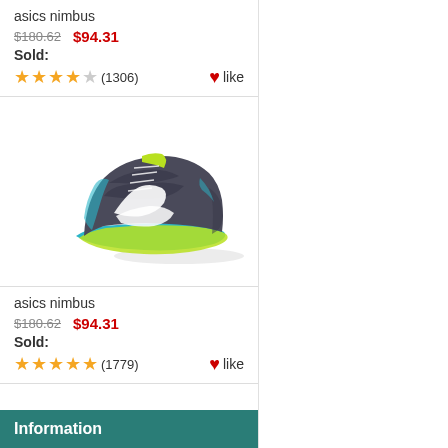asics nimbus
$180.62  $94.31
Sold:
(1306)  like
[Figure (photo): ASICS Nimbus running shoe, dark gray/black with neon green and teal accents, white swoosh-like logo, viewed from the left side]
asics nimbus
$180.62  $94.31
Sold:
(1779)  like
Information